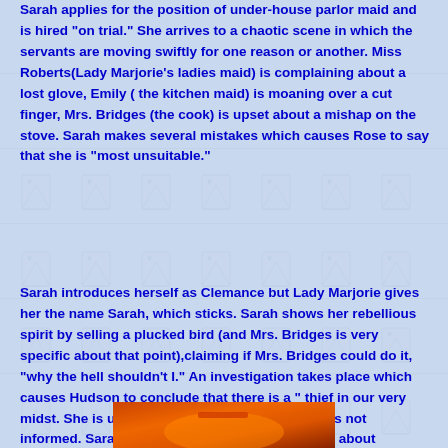Sarah applies for the position of under-house parlor maid and is hired "on trial." She arrives to a chaotic scene in which the servants are moving swiftly for one reason or another. Miss Roberts(Lady Marjorie's ladies maid) is complaining about a lost glove, Emily ( the kitchen maid) is moaning over a cut finger, Mrs. Bridges (the cook) is upset about a mishap on the stove. Sarah makes several mistakes which causes Rose to say that she is "most unsuitable."
Sarah introduces herself as Clemance but Lady Marjorie gives her the name Sarah, which sticks. Sarah shows her rebellious spirit by selling a plucked bird (and Mrs. Bridges is very specific about that point),claiming if Mrs. Bridges could do it, "why the hell shouldn't I." An investigation takes place which causes Hudson to conclude that there is a " thief in our very midst. She is ultimately forgiven and Upstairs was not informed. Sarah shows that she has a lot to learn about "downstairs etiquette."
[Figure (photo): Partial bottom image visible, appears to show an orange/red colored object]